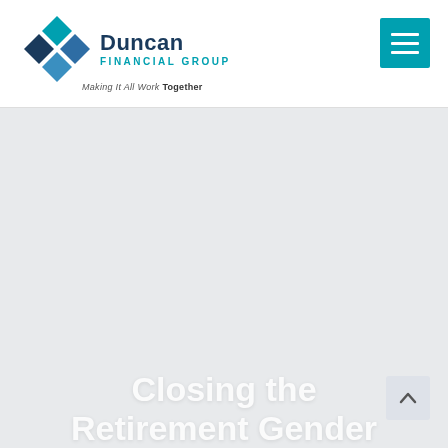[Figure (logo): Duncan Financial Group logo with diamond/rhombus pattern icon and text 'Duncan FINANCIAL GROUP' with tagline 'Making It All Work Together']
[Figure (other): Teal/cyan hamburger menu button (three horizontal white lines on teal background) in top-right corner]
[Figure (photo): Light gray-blue hero image background area]
Closing the Retirement Gender